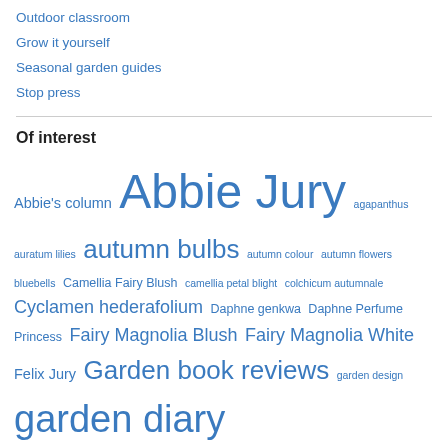Outdoor classroom
Grow it yourself
Seasonal garden guides
Stop press
Of interest
Abbie's column Abbie Jury agapanthus auratum lilies autumn bulbs autumn colour autumn flowers bluebells Camellia Fairy Blush camellia petal blight colchicum autumnale Cyclamen hederafolium Daphne genkwa Daphne Perfume Princess Fairy Magnolia Blush Fairy Magnolia White Felix Jury Garden book reviews garden design garden diary gardening gardening with grasses garden maintenance garden quotes garden tasks Higo iris in the garden this week Jury magnolias kereru Magnolia Black Tulip Magnolia campbellii Magnolia Felix Jury Magnolia Iolanthe Magnolia Lanarth